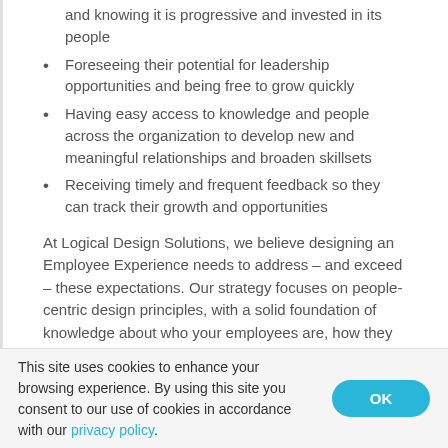and knowing it is progressive and invested in its people
Foreseeing their potential for leadership opportunities and being free to grow quickly
Having easy access to knowledge and people across the organization to develop new and meaningful relationships and broaden skillsets
Receiving timely and frequent feedback so they can track their growth and opportunities
At Logical Design Solutions, we believe designing an Employee Experience needs to address – and exceed – these expectations. Our strategy focuses on people-centric design principles, with a solid foundation of knowledge about who your employees are, how they work today, and how they want to work in the future.
This site uses cookies to enhance your browsing experience. By using this site you consent to our use of cookies in accordance with our privacy policy.